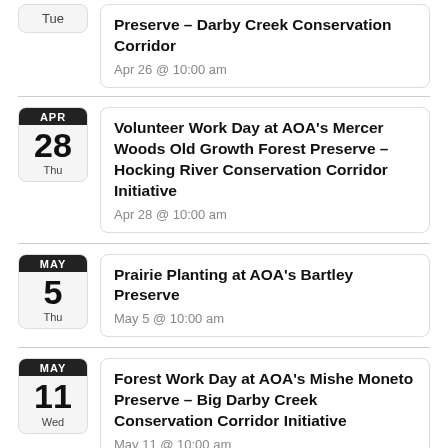Preserve – Darby Creek Conservation Corridor
Apr 26 @ 10:00 am
Volunteer Work Day at AOA's Mercer Woods Old Growth Forest Preserve – Hocking River Conservation Corridor Initiative
Apr 28 @ 10:00 am
Prairie Planting at AOA's Bartley Preserve
May 5 @ 10:00 am
Forest Work Day at AOA's Mishe Moneto Preserve – Big Darby Creek Conservation Corridor Initiative
May 11 @ 10:00 am
Kleinmaier State Nature Preserve (SNP) –
May 19